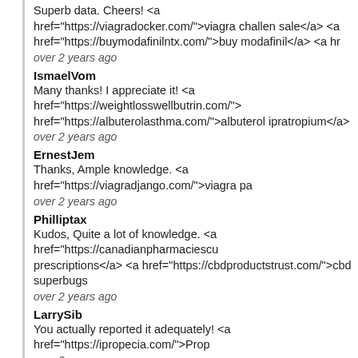Superb data. Cheers! <a href="https://viagradocker.com/">viagra challen sale</a> <a href="https://buymodafinilntx.com/">buy modafinil</a> <a hr
over 2 years ago
IsmaelVom
Many thanks! I appreciate it! <a href="https://weightlosswellbutrin.com/"> href="https://albuterolasthma.com/">albuterol ipratropium</a>
over 2 years ago
ErnestJem
Thanks, Ample knowledge. <a href="https://viagradjango.com/">viagra pa
over 2 years ago
Philliptax
Kudos, Quite a lot of knowledge. <a href="https://canadianpharmaciescu prescriptions</a> <a href="https://cbdproductstrust.com/">cbd superbugs
over 2 years ago
LarrySib
You actually reported it adequately! <a href="https://ipropecia.com/">Prop
over 2 years ago
KeithUnlog
Position well utilized!! <a href="https://safeonlinecanadian.com/">canada href="https://ciaonlinebuyntx.com/">cialis online</a> <a href="https://ciali
over 2 years ago
ErnestJem
Cheers, Terrific information! <a href="https://cbdproductstrust.com/">b